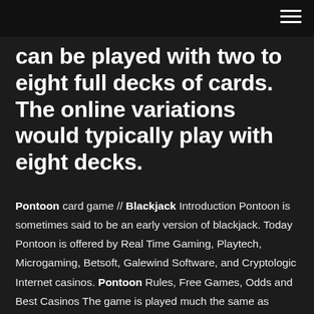can be played with two to eight full decks of cards. The online variations would typically play with eight decks.
Pontoon card game // Blackjack Introduction Pontoon is sometimes said to be an early version of blackjack. Today Pontoon is offered by Real Time Gaming, Playtech, Microgaming, Betsoft, Galewind Software, and Cryptologic Internet casinos. Pontoon Rules, Free Games, Odds and Best Casinos The game is played much the same as traditional Blackjack and the main target remains the same: to beat the dealer. However, there are some distinct rules that make it quite different. Pontoon – BlackJack Moments